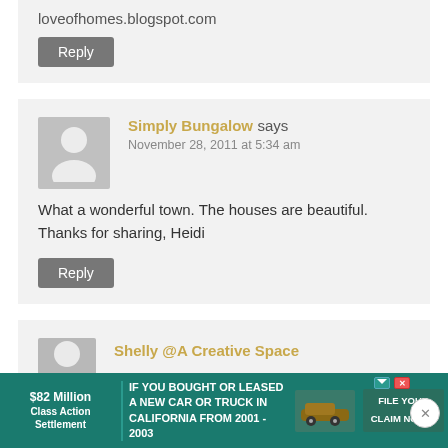loveofhomes.blogspot.com
Reply
Simply Bungalow says
November 28, 2011 at 5:34 am
What a wonderful town. The houses are beautiful. Thanks for sharing, Heidi
Reply
Shelly @A Creative Space
[Figure (infographic): Advertisement banner: $82 Million Class Action Settlement - IF YOU BOUGHT OR LEASED A NEW CAR OR TRUCK IN CALIFORNIA FROM 2001-2003 FILE YOUR CLAIM NOW]